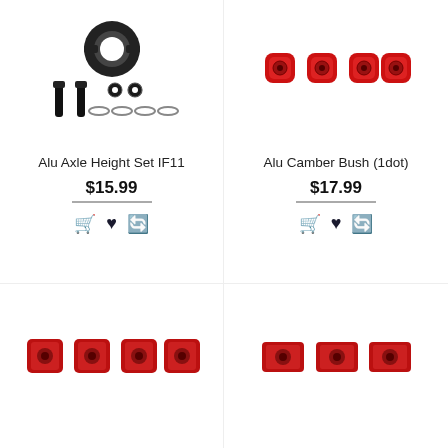[Figure (photo): Alu Axle Height Set IF11 product photo showing black anodized ring bracket, bolts, washers and spacers on white background]
[Figure (photo): Alu Camber Bush (1dot) product photo showing four red anodized round hex bushings on white background with faint watermark]
Alu Axle Height Set IF11
$15.99
[Figure (other): Shopping cart, heart/wishlist, and refresh/compare icons for Alu Axle Height Set IF11]
Alu Camber Bush (1dot)
$17.99
[Figure (other): Shopping cart, heart/wishlist, and refresh/compare icons for Alu Camber Bush (1dot)]
[Figure (photo): Product photo showing four red anodized square camber bushings with holes, watermark background]
[Figure (photo): Product photo showing three red anodized rectangular pieces, watermark background]